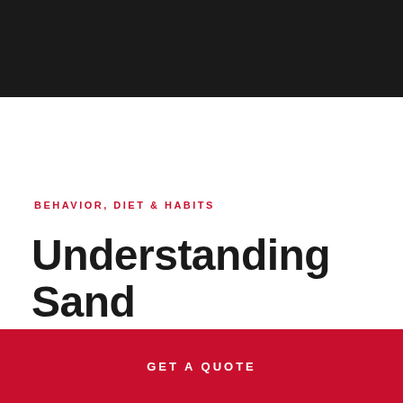[Figure (illustration): Black header bar at the top of the page]
BEHAVIOR, DIET & HABITS
Understanding Sand Cockroaches
GET A QUOTE